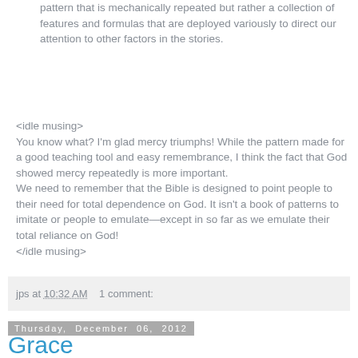pattern that is mechanically repeated but rather a collection of features and formulas that are deployed variously to direct our attention to other factors in the stories.
<idle musing>
You know what? I'm glad mercy triumphs! While the pattern made for a good teaching tool and easy remembrance, I think the fact that God showed mercy repeatedly is more important.
We need to remember that the Bible is designed to point people to their need for total dependence on God. It isn't a book of patterns to imitate or people to emulate—except in so far as we emulate their total reliance on God!
</idle musing>
jps at 10:32 AM    1 comment:
Thursday, December 06, 2012
Grace